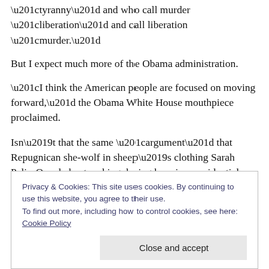“tyranny” and who call murder “liberation” and call liberation “murder.”
But I expect much more of the Obama administration.
“I think the American people are focused on moving forward,” the Obama White House mouthpiece proclaimed.
Isn’t that the same “argument” that Repugnican she-wolf in sheep’s clothing Sarah Palin-Quayle kept making during her vice presidential debate with Joseph Biden? That we
Privacy & Cookies: This site uses cookies. By continuing to use this website, you agree to their use.
To find out more, including how to control cookies, see here: Cookie Policy
Close and accept